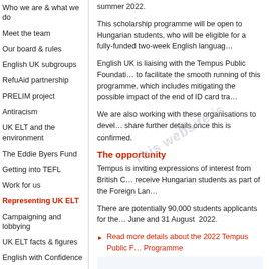Who we are & what we do
Meet the team
Our board & rules
English UK subgroups
RefuAid partnership
PRELIM project
Antiracism
UK ELT and the environment
The Eddie Byers Fund
Getting into TEFL
Work for us
Representing UK ELT
Campaigning and lobbying
UK ELT facts & figures
English with Confidence
Press releases
English UK news
summer 2022.
This scholarship programme will be open to Hungarian students, who will be eligible for a fully-funded two-week English language course.
English UK is liaising with the Tempus Public Foundation to help facilitate the smooth running of this programme, which includes mitigating the possible impact of the end of ID card travel.
We are also working with these organisations to develop further details and will share further details once this is confirmed.
The opportunity
Tempus is inviting expressions of interest from British Council accredited ELT centres to receive Hungarian students as part of the Foreign Language Scholarship Programme.
There are potentially 90,000 students applicants for the programme, which runs between June and 31 August 2022.
Read more details about the 2022 Tempus Public Foundation Foreign Language Scholarship Programme
ELT centres that would like to be involved, should express their interest in the Foreign Language Scholarship Programme by emailing efl@tpf.hu.
Even if they previously registered for the programme b